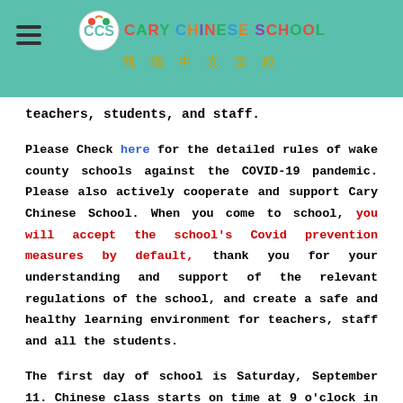CARY CHINESE SCHOOL 凯瑞中文学校
teachers, students, and staff.
Please Check here for the detailed rules of wake county schools against the COVID-19 pandemic. Please also actively cooperate and support Cary Chinese School. When you come to school, you will accept the school's Covid prevention measures by default, thank you for your understanding and support of the relevant regulations of the school, and create a safe and healthy learning environment for teachers, staff and all the students.
The first day of school is Saturday, September 11. Chinese class starts on time at 9 o'clock in the morning.